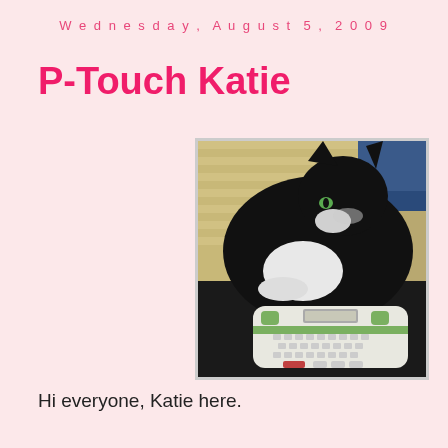Wednesday, August 5, 2009
P-Touch Katie
[Figure (photo): A black and white tuxedo cat sitting on a dark surface, resting on or near a white P-Touch label maker with a keyboard. Background shows wooden blinds and a blue surface.]
Hi everyone, Katie here.